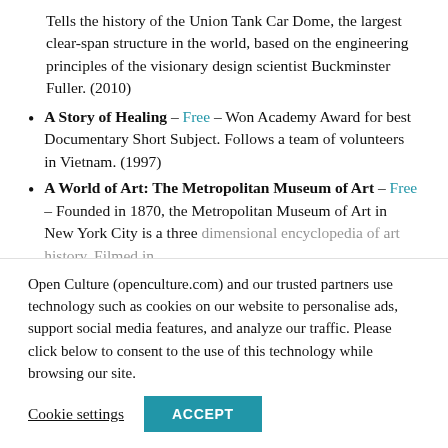Tells the history of the Union Tank Car Dome, the largest clear-span structure in the world, based on the engineering principles of the visionary design scientist Buckminster Fuller. (2010)
A Story of Healing – Free – Won Academy Award for best Documentary Short Subject. Follows a team of volunteers in Vietnam. (1997)
A World of Art: The Metropolitan Museum of Art – Free – Founded in 1870, the Metropolitan Museum of Art in New York City is a three dimensional encyclopedia of art history. Filmed in
Open Culture (openculture.com) and our trusted partners use technology such as cookies on our website to personalise ads, support social media features, and analyze our traffic. Please click below to consent to the use of this technology while browsing our site.
Cookie settings  ACCEPT